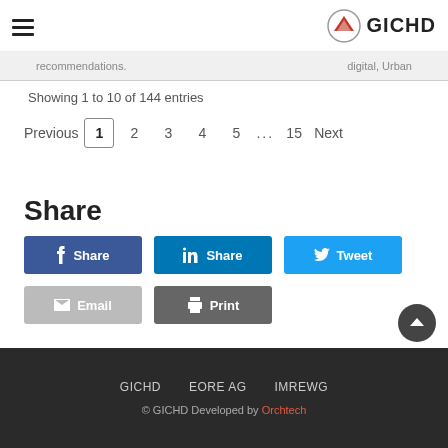GICHD
recommendations.   digital, Urban
Showing 1 to 10 of 144 entries
Previous  1  2  3  4  5  ...  15  Next
Share
f Share   in Share   Tweet
Email   Print
GICHD   EORE AG   IMREWG
© GICHD Developed by Orchtech